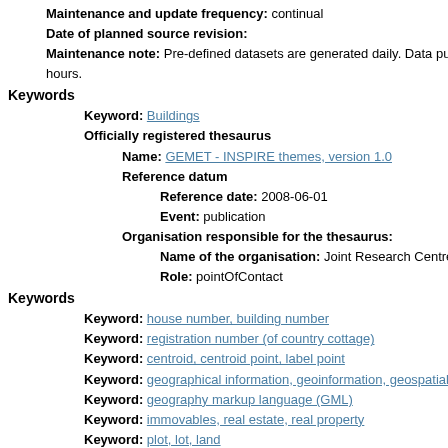Maintenance and update frequency: continual
Date of planned source revision:
Maintenance note: Pre-defined datasets are generated daily. Data purchased hours.
Keywords
Keyword: Buildings
Officially registered thesaurus
Name: GEMET - INSPIRE themes, version 1.0
Reference datum
Reference date: 2008-06-01
Event: publication
Organisation responsible for the thesaurus:
Name of the organisation: Joint Research Centre
Role: pointOfContact
Keywords
Keyword: house number, building number
Keyword: registration number (of country cottage)
Keyword: centroid, centroid point, label point
Keyword: geographical information, geoinformation, geospatial informatio
Keyword: geography markup language (GML)
Keyword: immovables, real estate, real property
Keyword: plot, lot, land
Keyword: building
Keyword: information system of the cadastre of real estates
Officially registered thesaurus